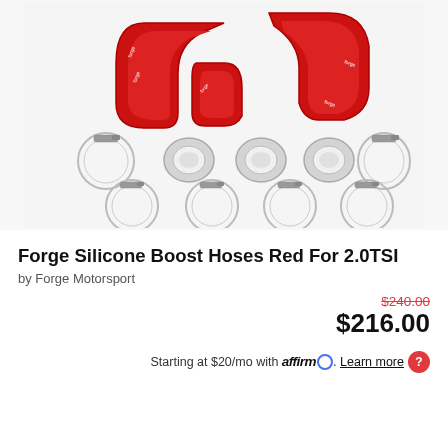[Figure (photo): Product photo showing three red silicone boost hoses arranged at top, with metal clamps and ring fittings below arranged in two rows on a light grey background.]
Forge Silicone Boost Hoses Red For 2.0TSI
by Forge Motorsport
$240.00 (strikethrough) $216.00
Starting at $20/mo with affirm. Learn more